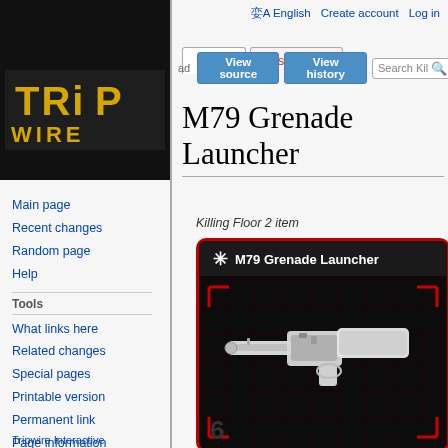English  Create account  Log in
[Figure (logo): Tripwire Interactive logo with yellow stylized text on dark background]
Page  Discussion  View source  View history  Search Kil
M79 Grenade Launcher
Killing Floor 2 item
[Figure (screenshot): M79 Grenade Launcher game card with dark background, red grid pattern, red corner brackets, and white x-ray style weapon image. Header shows star icon and title 'M79 Grenade Launcher'.]
Main page
Recent changes
Random page
Help
Tools
What links here
Related changes
Special pages
Printable version
Permanent link
Page information
Tripwire Interactive